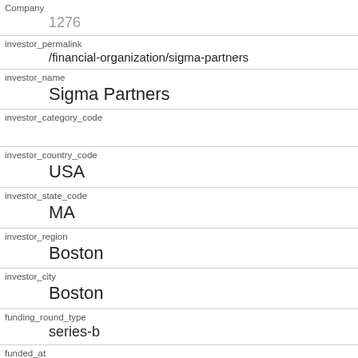| Company | 1276 |
| investor_permalink | /financial-organization/sigma-partners |
| investor_name | Sigma Partners |
| investor_category_code |  |
| investor_country_code | USA |
| investor_state_code | MA |
| investor_region | Boston |
| investor_city | Boston |
| funding_round_type | series-b |
| funded_at | 1204329600 |
| funded_year |  |